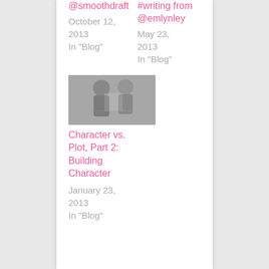@smoothdraft
#writing from @emlynley
October 12, 2013
In "Blog"
May 23, 2013
In "Blog"
[Figure (photo): Grayscale photograph, appears to show two people, possibly in athletic gear]
Character vs. Plot, Part 2: Building Character
January 23, 2013
In "Blog"